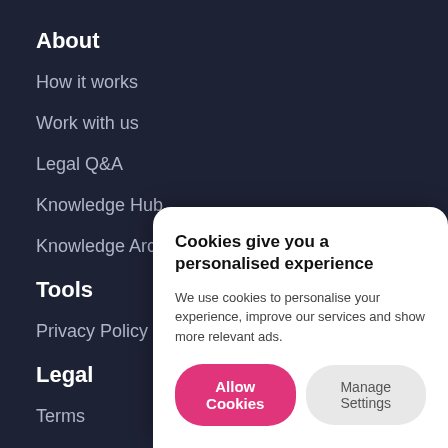About
How it works
Work with us
Legal Q&A
Knowledge Hub
Knowledge Archive
Tools
Privacy Policy Generator
Legal
Terms
Privacy
[Figure (screenshot): Cookie consent modal overlay with title 'Cookies give you a personalised experience', body text 'We use cookies to personalise your experience, improve our services and show more relevant ads.', and two buttons: 'Allow Cookies' (pink) and 'Manage Settings' (grey)]